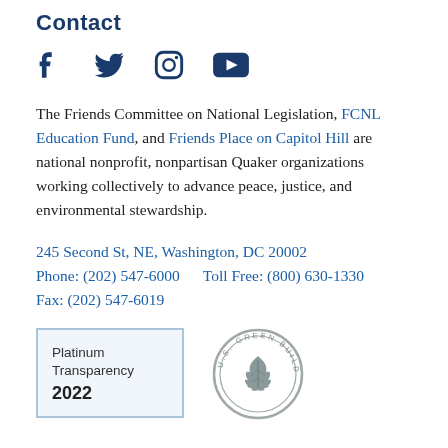Contact
[Figure (infographic): Social media icons: Facebook, Twitter, Instagram, YouTube in dark navy blue]
The Friends Committee on National Legislation, FCNL Education Fund, and Friends Place on Capitol Hill are national nonprofit, nonpartisan Quaker organizations working collectively to advance peace, justice, and environmental stewardship.
245 Second St, NE, Washington, DC 20002
Phone: (202) 547-6000    Toll Free: (800) 630-1330    Fax: (202) 547-6019
[Figure (logo): Platinum Transparency 2022 badge with blue border]
[Figure (logo): U.S. Green Building Council circular seal/logo]